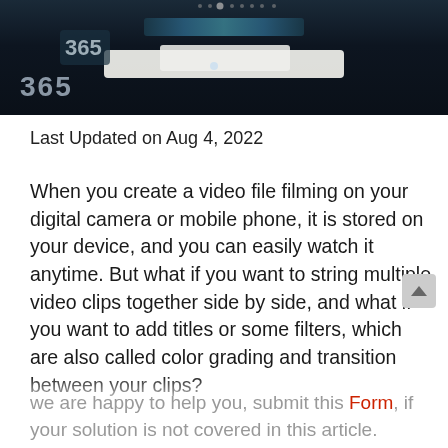[Figure (photo): Dark photograph of a car dashboard/interior, showing instrument cluster numbers and controls with blue LED lighting against a dark background]
Last Updated on Aug 4, 2022
When you create a video file filming on your digital camera or mobile phone, it is stored on your device, and you can easily watch it anytime. But what if you want to string multiple video clips together side by side, and what if you want to add titles or some filters, which are also called color grading and transition between your clips?
we are happy to help you, submit this Form, if your solution is not covered in this article.